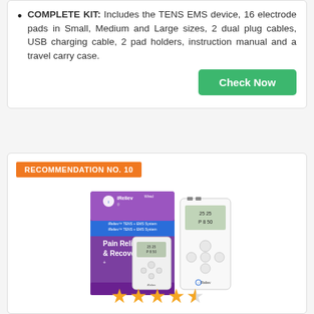COMPLETE KIT: Includes the TENS EMS device, 16 electrode pads in Small, Medium and Large sizes, 2 dual plug cables, USB charging cable, 2 pad holders, instruction manual and a travel carry case.
Check Now
RECOMMENDATION NO. 10
[Figure (photo): iReliev TENS + EMS Wired Pain Relief & Recovery System product box and device shown together. Purple and blue box labeled 'Pain Relief & Recovery' with two white handheld TENS/EMS units displayed.]
★★★★½ (4.5 stars rating)